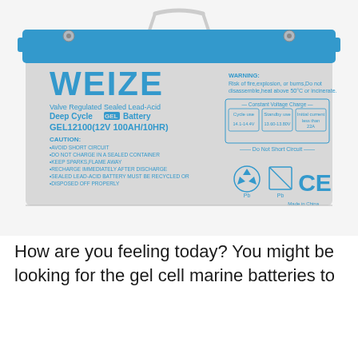[Figure (photo): Weize GEL12100 12V 100AH/10HR Valve Regulated Sealed Lead-Acid Deep Cycle GEL Battery with blue top and carry handle, showing product label with warnings, caution notes, constant voltage charge specs, and safety symbols (Pb recycle, CE mark). Made in China.]
How are you feeling today? You might be looking for the gel cell marine batteries to